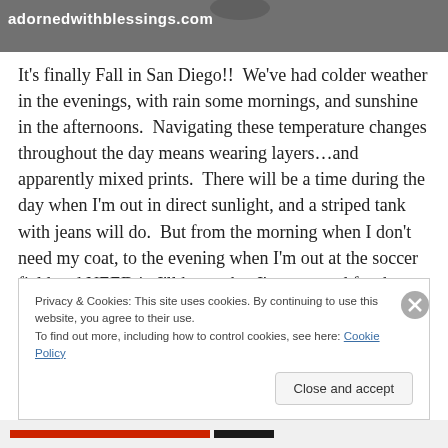[Figure (photo): Top banner image showing adorned with blessings website URL overlay on a dark/grey photograph background]
It's finally Fall in San Diego!!  We've had colder weather in the evenings, with rain some mornings, and sunshine in the afternoons.  Navigating these temperature changes throughout the day means wearing layers…and apparently mixed prints.  There will be a time during the day when I'm out in direct sunlight, and a striped tank with jeans will do.  But from the morning when I don't need my coat, to the evening when I'm out at the soccer field and NEED it, I'll know that I'm prepared for the day.  And when I say
Privacy & Cookies: This site uses cookies. By continuing to use this website, you agree to their use.
To find out more, including how to control cookies, see here: Cookie Policy
Close and accept